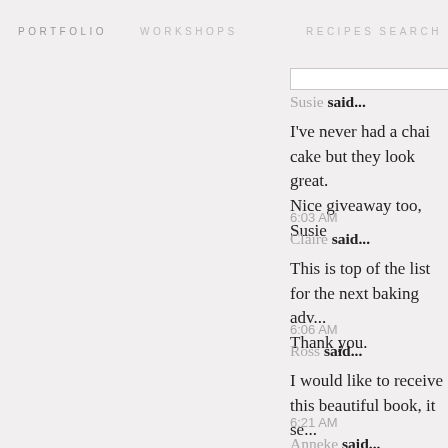PORTFOLIO   WORKSHOPS   RECIPES   SEARCH
Yum! I love chai! I will try this soon. Looks so...
5:45 AM
Susie said...
I've never had a chai cake but they look great. Nice giveaway too,
Susie
6:03 AM
Claire said...
This is top of the list for the next baking adv... Thank you.
6:06 AM
Ross said...
I would like to receive this beautiful book, it se... In any case, congratulations Nicole, I hope you...
6:21 AM
Anneke said...
That cake looks so delicious, I'm gonna try thi...